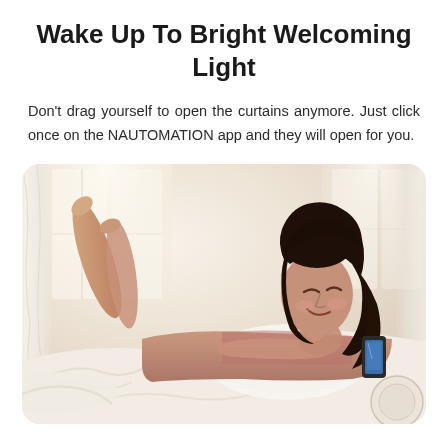Wake Up To Bright Welcoming Light
Don't drag yourself to open the curtains anymore. Just click once on the NAUTOMATION app and they will open for you.
[Figure (photo): A smiling young woman lying on a bed with white sheets, propped on a pillow, looking at her smartphone. The room has bright natural light coming through curtains in the background.]